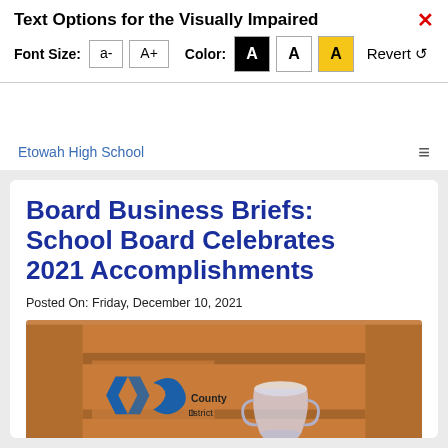Text Options for the Visually Impaired
Font Size: a- A+ Color: A A A Revert
Etowah High School
Board Business Briefs: School Board Celebrates 2021 Accomplishments
Posted On: Friday, December 10, 2021
[Figure (photo): Crystal trophy or vase on a wooden panel background with a Cherokee County School District logo visible to the left. The trophy sits on a table with nameplates.]